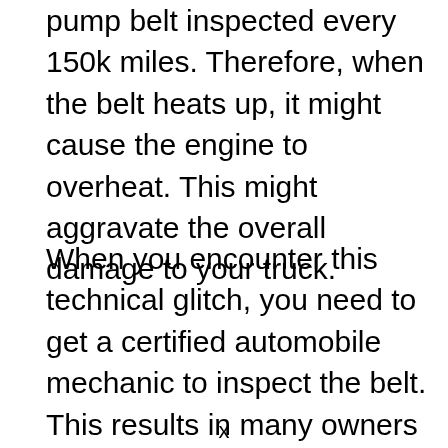pump belt inspected every 150k miles. Therefore, when the belt heats up, it might cause the engine to overheat. This might aggravate the overall damage to your truck.
When you encounter this technical glitch, you need to get a certified automobile mechanic to inspect the belt. This results in many owners overlooking the inspection. However, in the future, this leads to potential engine failure issues in